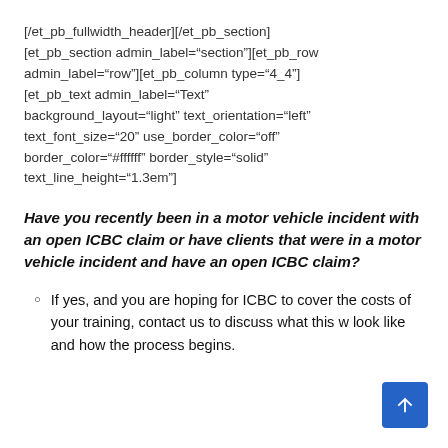[/et_pb_fullwidth_header][/et_pb_section] [et_pb_section admin_label="section"][et_pb_row admin_label="row"][et_pb_column type="4_4"] [et_pb_text admin_label="Text" background_layout="light" text_orientation="left" text_font_size="20" use_border_color="off" border_color="#ffffff" border_style="solid" text_line_height="1.3em"]
Have you recently been in a motor vehicle incident with an open ICBC claim or have clients that were in a motor vehicle incident and have an open ICBC claim?
If yes, and you are hoping for ICBC to cover the costs of your training, contact us to discuss what this would look like and how the process begins.